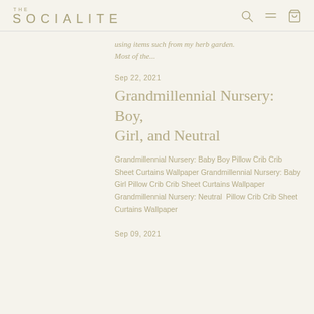THE SOCIALITE
...using items such from my herb garden. Most of the...
Sep 22, 2021
Grandmillennial Nursery: Boy, Girl, and Neutral
Grandmillennial Nursery: Baby Boy Pillow Crib Crib Sheet Curtains Wallpaper Grandmillennial Nursery: Baby Girl Pillow Crib Crib Sheet Curtains Wallpaper Grandmillennial Nursery: Neutral  Pillow Crib Crib Sheet Curtains Wallpaper
Sep 09, 2021